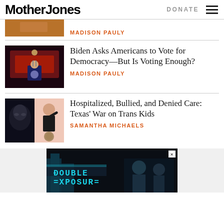Mother Jones | DONATE
MADISON PAULY
Biden Asks Americans to Vote for Democracy—But Is Voting Enough?
MADISON PAULY
Hospitalized, Bullied, and Denied Care: Texas' War on Trans Kids
SAMANTHA MICHAELS
[Figure (screenshot): Advertisement banner: DOUBLE EXPOSURE text in cyan over dark background with figures]